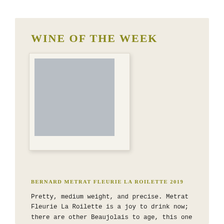WINE OF THE WEEK
[Figure (photo): Polaroid-style photo placeholder with grey image area]
BERNARD METRAT FLEURIE LA ROILETTE 2019
Pretty, medium weight, and precise. Metrat Fleurie La Roilette is a joy to drink now; there are other Beaujolais to age, this one is to enjoy
$40.00